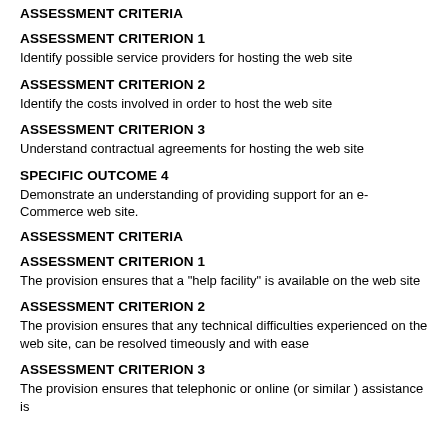ASSESSMENT CRITERIA
ASSESSMENT CRITERION 1
Identify possible service providers for hosting the web site
ASSESSMENT CRITERION 2
Identify the costs involved in order to host the web site
ASSESSMENT CRITERION 3
Understand contractual agreements for hosting the web site
SPECIFIC OUTCOME 4
Demonstrate an understanding of providing support for an e-Commerce web site.
ASSESSMENT CRITERIA
ASSESSMENT CRITERION 1
The provision ensures that a "help facility" is available on the web site
ASSESSMENT CRITERION 2
The provision ensures that any technical difficulties experienced on the web site, can be resolved timeously and with ease
ASSESSMENT CRITERION 3
The provision ensures that telephonic or online (or similar ) assistance is